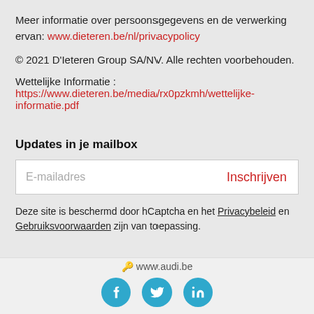Meer informatie over persoonsgegevens en de verwerking ervan: www.dieteren.be/nl/privacypolicy
© 2021 D'Ieteren Group SA/NV. Alle rechten voorbehouden.
Wettelijke Informatie : https://www.dieteren.be/media/rx0pzkmh/wettelijke-informatie.pdf
Updates in je mailbox
E-mailadres   Inschrijven
Deze site is beschermd door hCaptcha en het Privacybeleid en Gebruiksvoorwaarden zijn van toepassing.
www.audi.be
[Figure (other): Social media icons: Facebook, Twitter, LinkedIn — round blue circles with white logos]